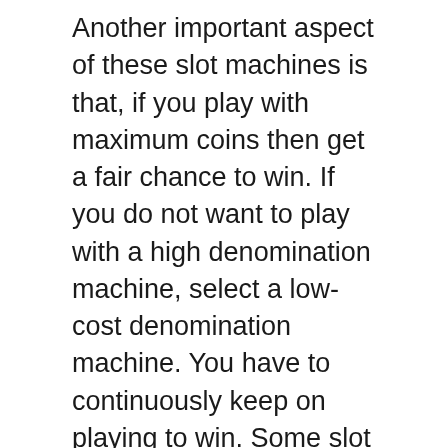Another important aspect of these slot machines is that, if you play with maximum coins then get a fair chance to win. If you do not want to play with a high denomination machine, select a low-cost denomination machine. You have to continuously keep on playing to win. Some slot machines pay bonuses for playing for longer time.
Second there is a money. Online casinos will all give you' deposit bonus, anything from 10% to 300%. Try asking your neighborhood casino host if they'll match the $300 you brought into the casino with another $300 cash. They will smile and say that you may probably have the ability to earn a free dinner in the casino buffet valued at $15. Choosing an online casino is going to be